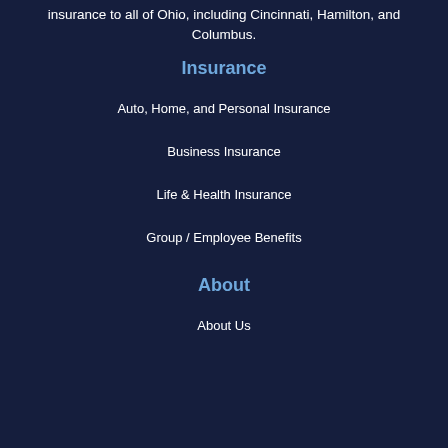insurance to all of Ohio, including Cincinnati, Hamilton, and Columbus.
Insurance
Auto, Home, and Personal Insurance
Business Insurance
Life & Health Insurance
Group / Employee Benefits
About
About Us